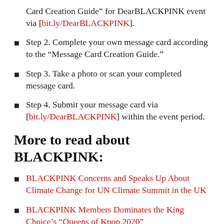Card Creation Guide” for DearBLACKPINK event via [bit.ly/DearBLACKPINK].
Step 2. Complete your own message card according to the “Message Card Creation Guide.”
Step 3. Take a photo or scan your completed message card.
Step 4. Submit your message card via [bit.ly/DearBLACKPINK] within the event period.
More to read about BLACKPINK:
BLACKPINK Concerns and Speaks Up About Climate Change for UN Climate Summit in the UK
BLACKPINK Members Dominates the King Choice’s “Queens of Kpop 2020”
7 of Blackpink’s Unforgettable Wardrobe Malfunction